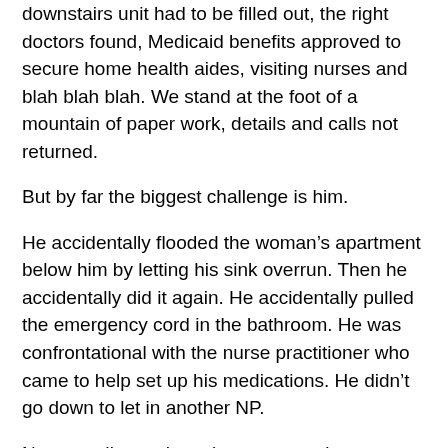downstairs unit had to be filled out, the right doctors found, Medicaid benefits approved to secure home health aides, visiting nurses and blah blah blah. We stand at the foot of a mountain of paper work, details and calls not returned.
But by far the biggest challenge is him.
He accidentally flooded the woman’s apartment below him by letting his sink overrun. Then he accidentally did it again. He accidentally pulled the emergency cord in the bathroom. He was confrontational with the nurse practitioner who came to help set up his medications. He didn’t go down to let in another NP.
Never ending, exhausting conversations saturate every space between the dramas. Pep him up, talk him down, find reasons for him to live. Be the happy voice, the scolding voice, the voice of reason. Even thinking about it